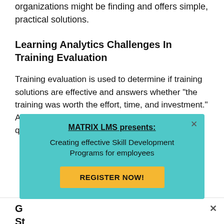organizations might be finding and offers simple, practical solutions.
Learning Analytics Challenges In Training Evaluation
Training evaluation is used to determine if training solutions are effective and answers whether "the training was worth the effort, time, and investment." As L&D professionals, we know that this is one question stakeholders often ask.
[Figure (screenshot): A teal/cyan popup box with bold underlined title 'MATRIX LMS presents:', subtitle 'Creating effective Skill Development Programs for employees', and a yellow 'REGISTER NOW!' button. A close (x) button appears in the top-right corner of the popup.]
G...
St...